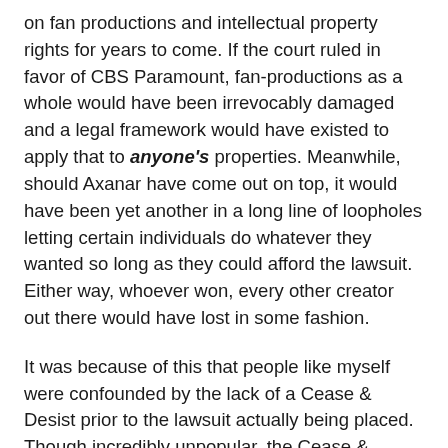on fan productions and intellectual property rights for years to come. If the court ruled in favor of CBS Paramount, fan-productions as a whole would have been irrevocably damaged and a legal framework would have existed to apply that to anyone's properties. Meanwhile, should Axanar have come out on top, it would have been yet another in a long line of loopholes letting certain individuals do whatever they wanted so long as they could afford the lawsuit. Either way, whoever won, every other creator out there would have lost in some fashion.
It was because of this that people like myself were confounded by the lack of a Cease & Desist prior to the lawsuit actually being placed. Though incredibly unpopular, the Cease & Desist letter is generally the go-to route for situations like this and the lack of one is generally a strange anomaly that raises questions. Some were under the impression that it was because CBS Paramount was obligated to sue, but that is actually not quite true and is based on assumptions from other